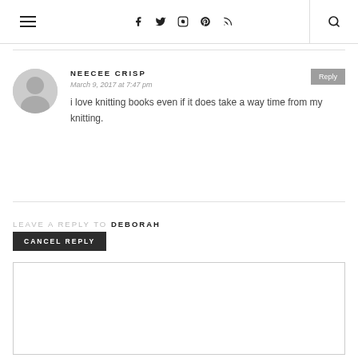Navigation header with hamburger menu, social icons (Facebook, Twitter, Instagram, Pinterest, RSS), and search icon
NEECEE CRISP
March 9, 2017 at 7:47 pm
i love knitting books even if it does take a way time from my knitting.
LEAVE A REPLY TO DEBORAH
CANCEL REPLY